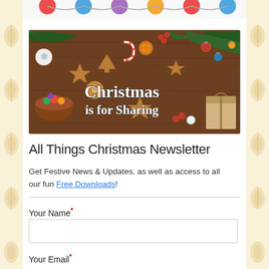[Figure (illustration): Christmas banner image with festive decorations (gingerbread cookies, candy canes, ornaments, pine branches, gifts) on a wooden table background with text 'Christmas is for Sharing' in white serif font]
All Things Christmas Newsletter
Get Festive News & Updates, as well as access to all our fun Free Downloads!
Your Name*
Your Email*